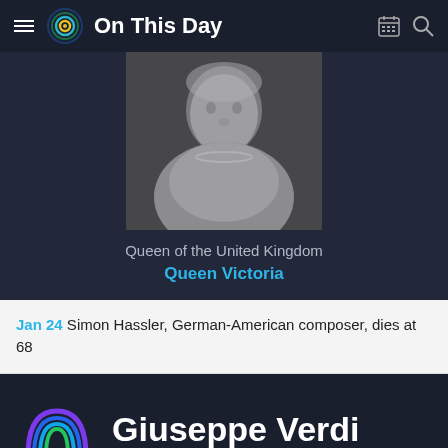On This Day
[Figure (photo): Black and white portrait photograph of Queen Victoria wearing a veil, jewelry and formal dress]
Queen of the United Kingdom
Queen Victoria
Jan 24 Simon Hassler, German-American composer, dies at 68
[Figure (logo): On This Day app colorful spiral logo]
Giuseppe Verdi